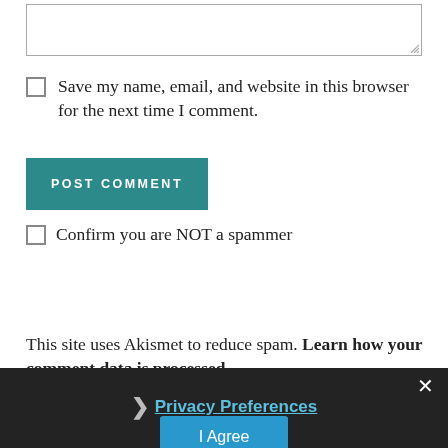[textarea input box]
Save my name, email, and website in this browser for the next time I comment.
POST COMMENT
Confirm you are NOT a spammer
This site uses Akismet to reduce spam. Learn how your comment data is processed.
×
❯ Privacy Preferences
I Agree